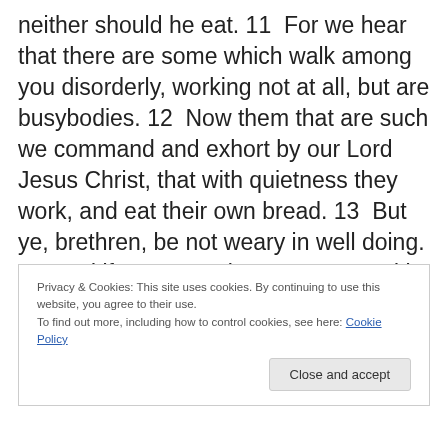neither should he eat. 11  For we hear that there are some which walk among you disorderly, working not at all, but are busybodies. 12  Now them that are such we command and exhort by our Lord Jesus Christ, that with quietness they work, and eat their own bread. 13  But ye, brethren, be not weary in well doing. 14  And if any man obey not our word by this epistle, note that man, and have no company with him, that he may be ashamed. 15  Yet count him not as an enemy, but admonish him as a brother.
Privacy & Cookies: This site uses cookies. By continuing to use this website, you agree to their use. To find out more, including how to control cookies, see here: Cookie Policy
Close and accept